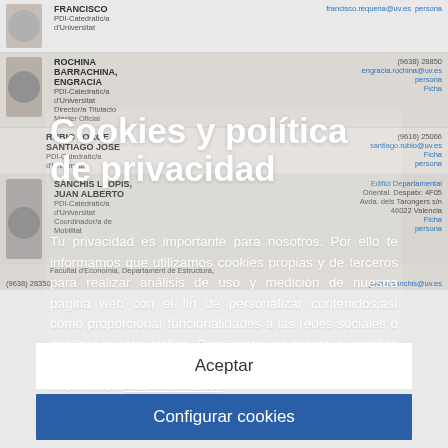FRANCISCO
PDI-Catedratic/a d'Universitat
francisco.requena@uv.es
ROCHINA BARRACHINA, ENGRACIA
PDI-Catedratic/a d'Universitat
Director/a Titulacio Master Oficial
engracia.rochina@uv.es
(9638) 28850
RUBIO JORGE, SANTIAGO JOSE
PDI-Catedratic/a d'Universitat
santiago.rubio@uv.es
(9616) 25066
SANCHIS LLOPIS, JUAN ALBERTO
PDI-Catedratic/a d'Universitat
Coordinador/a de Mobilitat
juan.a.sanchis@uv.es
(9638) 28350
Facultat d'Economia, Departament de Estructura, Edifici Departamental Oriental. Despatx: 4F05
Avda. dels Tarongers s/n 46022 Valencia
Cookies y política de privacidad
Tu privacidad es importante para nosotros. Por ello te informamos que utilizamos cookies propias y de terceros para realizar análisis de uso y medición de nuestra página web con el fin de personalizar contenidos,así como proporcionar funcionalidades a las redes sociales o analizar nuestro tráfico. Para continuar acepta o modifica la configuración de nuestras cookies. Para ampliar información Más información
Aceptar
Configurar cookies